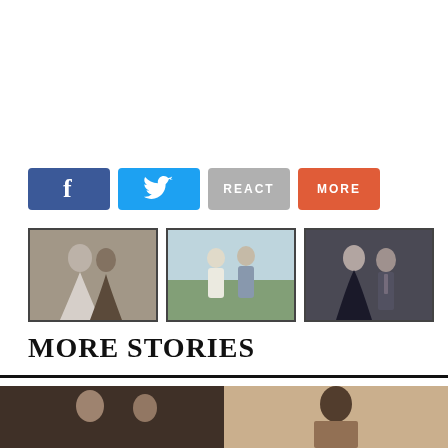[Figure (other): Row of three thumbnail photos: wedding couple kissing, couple walking at outdoor event, couple posing at formal event]
MORE STORIES
[Figure (photo): Two bottom preview photos side by side showing people]
[Figure (infographic): Social share buttons: Facebook, Twitter, REACT, MORE]